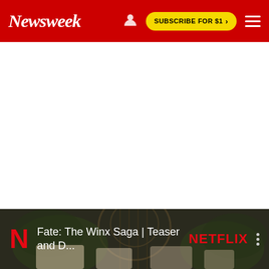Newsweek | SUBSCRIBE FOR $1 >
[Figure (screenshot): White blank content area below the Newsweek navigation header]
[Figure (screenshot): Netflix video thumbnail for 'Fate: The Winx Saga | Teaser and D...' showing Netflix N logo, title text, Netflix logo text, and three-dot menu icon against a dark background with ornate gate imagery]